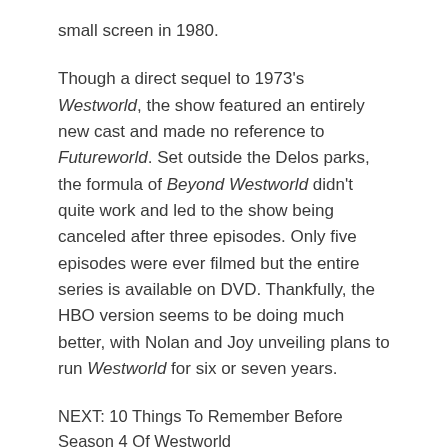small screen in 1980.
Though a direct sequel to 1973's Westworld, the show featured an entirely new cast and made no reference to Futureworld. Set outside the Delos parks, the formula of Beyond Westworld didn't quite work and led to the show being canceled after three episodes. Only five episodes were ever filmed but the entire series is available on DVD. Thankfully, the HBO version seems to be doing much better, with Nolan and Joy unveiling plans to run Westworld for six or seven years.
NEXT: 10 Things To Remember Before Season 4 Of Westworld
[Figure (photo): HOTD Velaryon & Targaryen image placeholder]
House Of The Dragon Already Secretly Confirmed A